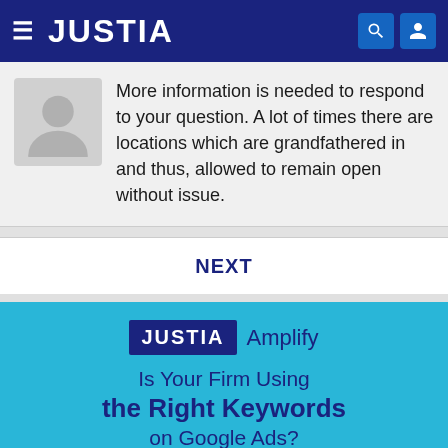JUSTIA
More information is needed to respond to your question. A lot of times there are locations which are grandfathered in and thus, allowed to remain open without issue.
NEXT
JUSTIA Amplify
Is Your Firm Using the Right Keywords on Google Ads?